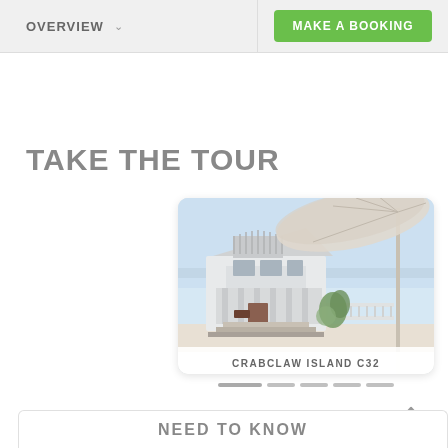OVERVIEW
MAKE A BOOKING
TAKE THE TOUR
[Figure (photo): Exterior view of a beachside house with white facade, balcony, stairs, and a large cream umbrella on the right. Caption reads CRABCLAW ISLAND C32.]
CRABCLAW ISLAND C32
NEED TO KNOW